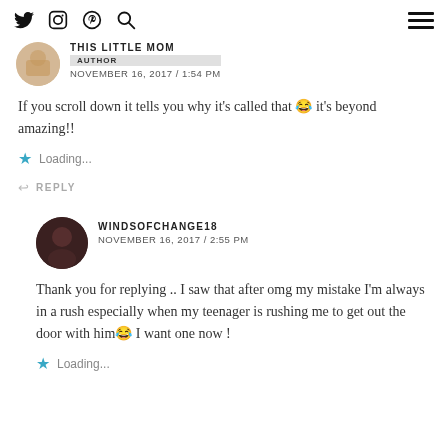Twitter | Instagram | Pinterest | Search | Menu
THIS LITTLE MOM
AUTHOR
NOVEMBER 16, 2017 / 1:54 PM
If you scroll down it tells you why it's called that 😂 it's beyond amazing!!
Loading...
REPLY
WINDSOFCHANGE18
NOVEMBER 16, 2017 / 2:55 PM
Thank you for replying .. I saw that after omg my mistake I'm always in a rush especially when my teenager is rushing me to get out the door with him😂 I want one now !
Loading...